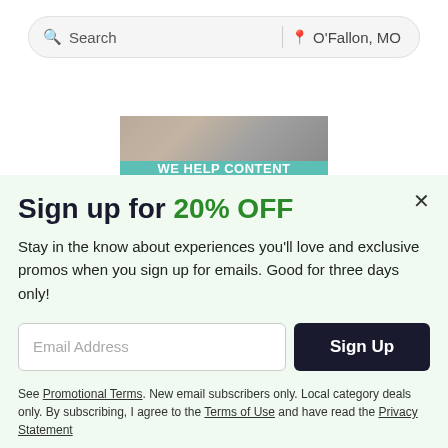[Figure (screenshot): Search bar with search icon and 'Search' placeholder on left, location pin icon and 'O'Fallon, MO' on right, separated by a vertical divider, on a light gray pill-shaped background]
[Figure (infographic): Advertisement banner with photo of person at laptop at top, teal background with white bold uppercase text: 'WE HELP CONTENT CREATORS GROW BUSINESSES THROUGH...']
Sign up for 20% OFF
Stay in the know about experiences you'll love and exclusive promos when you sign up for emails. Good for three days only!
[Figure (screenshot): Email address input field with placeholder 'Email Address' and a dark navy 'Sign Up' button]
See Promotional Terms. New email subscribers only. Local category deals only. By subscribing, I agree to the Terms of Use and have read the Privacy Statement